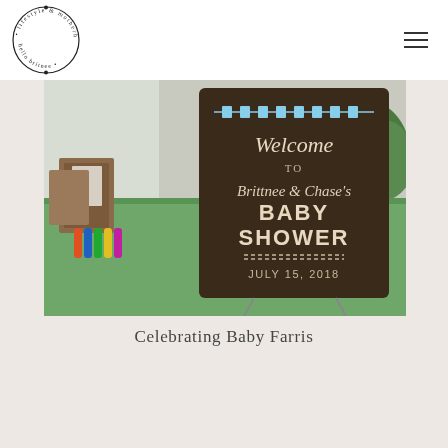hello britnee • lifestyle & motherhood
[Figure (photo): A baby shower welcome sign on a dark wood board reading 'Welcome to Brittnee & Chase's BABY SHOWER JULY 15, 2018' with blue baby onesie bunting, displayed on a table with a green tablecloth, crayons, and cards.]
Celebrating Baby Farris